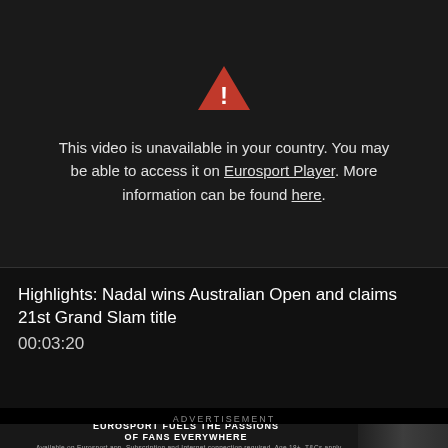[Figure (screenshot): Video player error screen with dark background, red warning triangle icon, and geo-restriction error message]
This video is unavailable in your country. You may be able to access it on Eurosport Player. More information can be found here.
Highlights: Nadal wins Australian Open and claims 21st Grand Slam title
00:03:20
ADVERTISEMENT
EUROSPORT FUELS THE PASSIONS OF FANS EVERYWHERE
Available on Eurosport app. Subscription and Internet connection required. Age 18+. T&Cs apply.